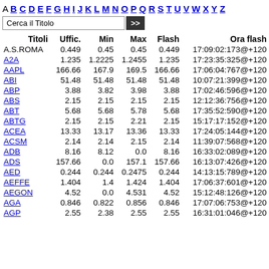A B C D E F G H I J K L M N O P Q R S T U V W X Y Z
| Titoli | Uffic. | Min | Max | Flash | Ora flash |
| --- | --- | --- | --- | --- | --- |
| A.S.ROMA | 0.449 | 0.45 | 0.45 | 0.449 | 17:09:02:173@+120 |
| A2A | 1.235 | 1.2225 | 1.2455 | 1.235 | 17:23:35:325@+120 |
| AAPL | 166.66 | 167.9 | 169.5 | 166.66 | 17:06:04:767@+120 |
| ABI | 51.48 | 51.48 | 51.48 | 51.48 | 10:07:21:399@+120 |
| ABP | 3.88 | 3.82 | 3.98 | 3.88 | 17:02:46:596@+120 |
| ABS | 2.15 | 2.15 | 2.15 | 2.15 | 12:12:36:756@+120 |
| ABT | 5.68 | 5.68 | 5.78 | 5.68 | 17:35:52:590@+120 |
| ABTG | 2.15 | 2.15 | 2.21 | 2.15 | 15:17:17:152@+120 |
| ACEA | 13.33 | 13.17 | 13.36 | 13.33 | 17:24:05:144@+120 |
| ACSM | 2.14 | 2.14 | 2.15 | 2.14 | 11:39:07:568@+120 |
| ADB | 8.16 | 8.12 | 0.0 | 8.16 | 16:33:02:089@+120 |
| ADS | 157.66 | 0.0 | 157.1 | 157.66 | 16:13:07:426@+120 |
| AED | 0.244 | 0.244 | 0.2475 | 0.244 | 14:13:15:789@+120 |
| AEFFE | 1.404 | 1.4 | 1.424 | 1.404 | 17:06:37:601@+120 |
| AEGON | 4.52 | 0.0 | 4.531 | 4.52 | 15:12:48:126@+120 |
| AGA | 0.846 | 0.822 | 0.856 | 0.846 | 17:07:06:753@+120 |
| AGP | 2.55 | 2.38 | 2.55 | 2.55 | 16:31:01:046@+120 |